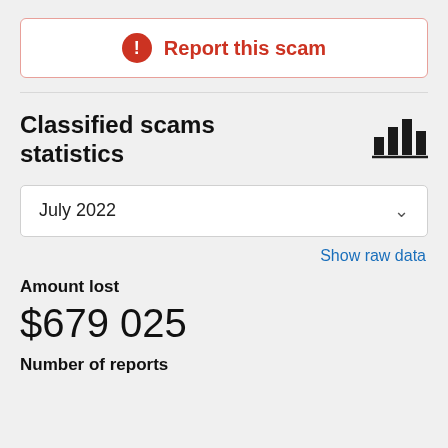Report this scam
Classified scams statistics
July 2022
Show raw data
Amount lost
$679 025
Number of reports